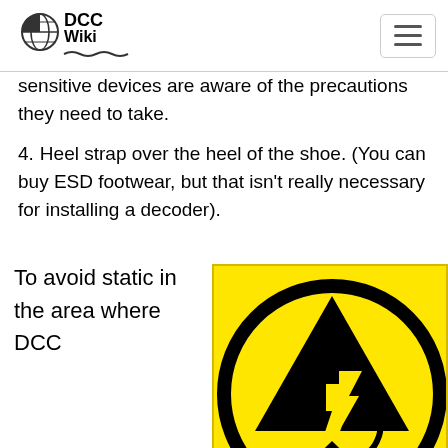DCC Wiki
sensitive devices are aware of the precautions they need to take.
4. Heel strap over the heel of the shoe. (You can buy ESD footwear, but that isn't really necessary for installing a decoder).
To avoid static in the area where DCC
[Figure (illustration): ESD warning symbol: black triangle with hand and lightning bolt on yellow background, within a black circle, on yellow field]